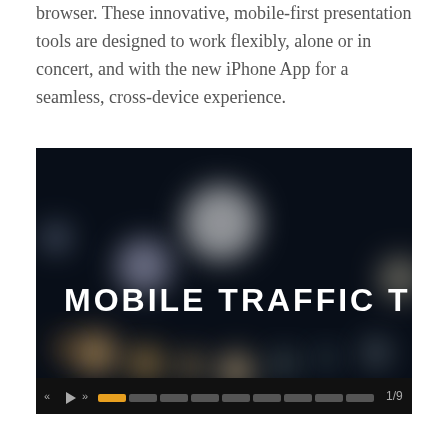browser. These innovative, mobile-first presentation tools are designed to work flexibly, alone or in concert, and with the new iPhone App for a seamless, cross-device experience.
[Figure (screenshot): A presentation slide thumbnail showing 'MOBILE TRAFFIC TRENDS' in large white bold text over a dark bokeh background with blurred lights. Below the image is a playback controls bar with back, play, forward buttons, a progress indicator showing segment 1 of 9 highlighted in orange, and a page counter '1/9'.]